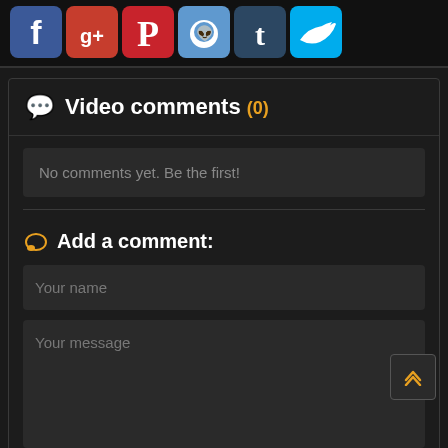[Figure (screenshot): Social media sharing icons: Facebook, Google+, Pinterest, Reddit, Tumblr, Twitter]
Video comments (0)
No comments yet. Be the first!
Add a comment:
Your name
Your message
Göndermek